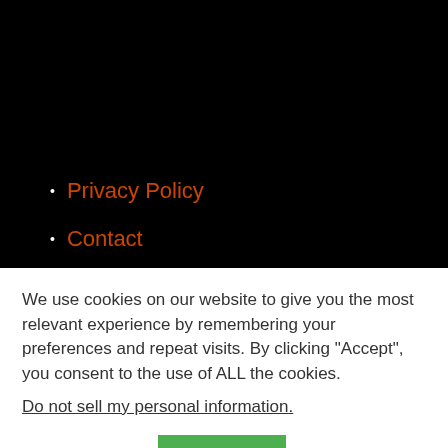Privacy Policy
Contact
We use cookies on our website to give you the most relevant experience by remembering your preferences and repeat visits. By clicking “Accept”, you consent to the use of ALL the cookies.
Do not sell my personal information.
Cookie settings  ACCEPT